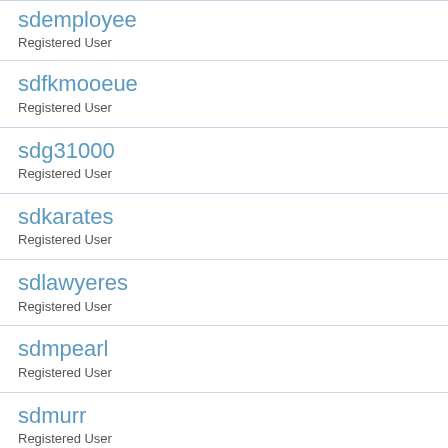sdemployee
Registered User
sdfkmooeue
Registered User
sdg31000
Registered User
sdkarates
Registered User
sdlawyeres
Registered User
sdmpearl
Registered User
sdmurr
Registered User